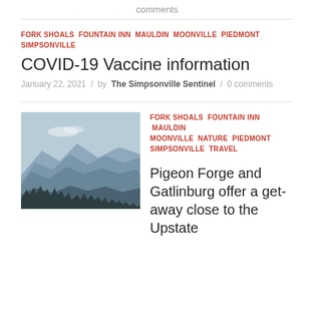comments
FORK SHOALS FOUNTAIN INN MAULDIN MOONVILLE PIEDMONT SIMPSONVILLE
COVID-19 Vaccine information
January 22, 2021 / by The Simpsonville Sentinel / 0 comments
[Figure (photo): Mountain landscape with blue ridgelines and bare trees in foreground]
FORK SHOALS FOUNTAIN INN MAULDIN MOONVILLE NATURE PIEDMONT SIMPSONVILLE TRAVEL
Pigeon Forge and Gatlinburg offer a get-away close to the Upstate